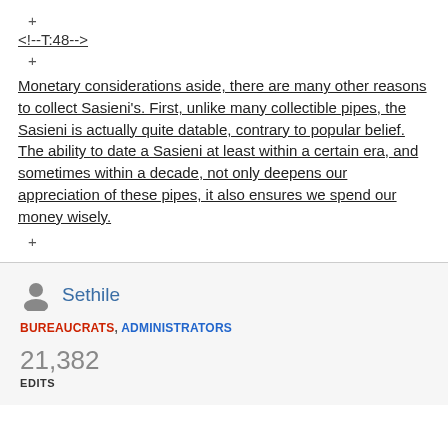+
<!--T:48-->
+
Monetary considerations aside, there are many other reasons to collect Sasieni's. First, unlike many collectible pipes, the Sasieni is actually quite datable, contrary to popular belief. The ability to date a Sasieni at least within a certain era, and sometimes within a decade, not only deepens our appreciation of these pipes, it also ensures we spend our money wisely.
+
Sethile
BUREAUCRATS, ADMINISTRATORS
21,382 EDITS